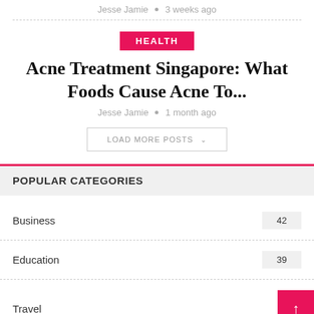Jesse Jamie • 3 weeks ago
HEALTH
Acne Treatment Singapore: What Foods Cause Acne To...
Jesse Jamie • 1 month ago
LOAD MORE POSTS
POPULAR CATEGORIES
Business  42
Education  39
Travel